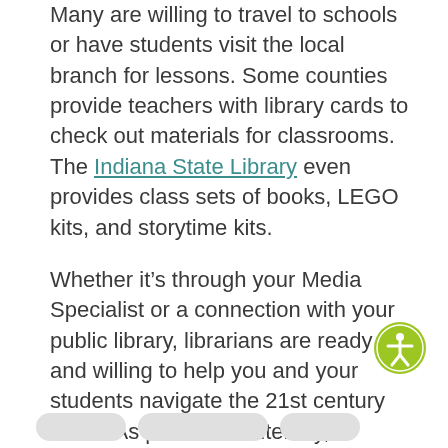Many are willing to travel to schools or have students visit the local branch for lessons. Some counties provide teachers with library cards to check out materials for classrooms. The Indiana State Library even provides class sets of books, LEGO kits, and storytime kits.
Whether it’s through your Media Specialist or a connection with your public library, librarians are ready and willing to help you and your students navigate the 21st century world. As partners in literacy, technology and the encouragement of lifelong learning, Media Specialists can be a teacher’s best friend and a valuable resource.
[Figure (other): Accessibility icon button (person with arms outstretched inside a circle, green and white color scheme)]